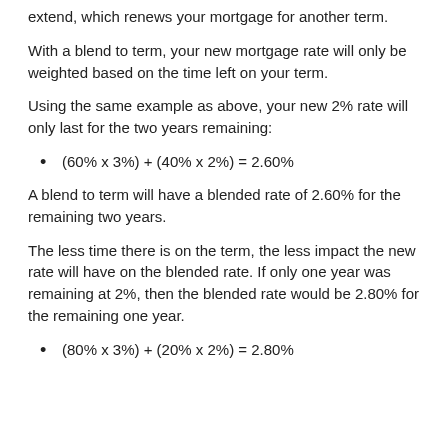extend, which renews your mortgage for another term.
With a blend to term, your new mortgage rate will only be weighted based on the time left on your term.
Using the same example as above, your new 2% rate will only last for the two years remaining:
(60% x 3%) + (40% x 2%) = 2.60%
A blend to term will have a blended rate of 2.60% for the remaining two years.
The less time there is on the term, the less impact the new rate will have on the blended rate. If only one year was remaining at 2%, then the blended rate would be 2.80% for the remaining one year.
(80% x 3%) + (20% x 2%) = 2.80%